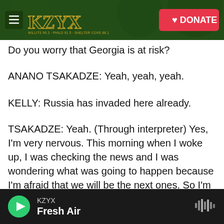[Figure (screenshot): KZYX radio station website header banner with green forest background, hamburger menu icon, KZYX logo in gold, and a red DONATE button]
Do you worry that Georgia is at risk?
ANANO TSAKADZE: Yeah, yeah, yeah.
KELLY: Russia has invaded here already.
TSAKADZE: Yeah. (Through interpreter) Yes, I'm very nervous. This morning when I woke up, I was checking the news and I was wondering what was going to happen because I'm afraid that we will be the next ones. So I'm very worried about the situation.
(SOUNDBITE OF TRAIN)
KZYX | Fresh Air